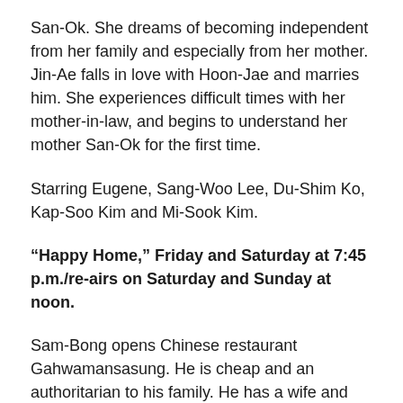San-Ok. She dreams of becoming independent from her family and especially from her mother. Jin-Ae falls in love with Hoon-Jae and marries him. She experiences difficult times with her mother-in-law, and begins to understand her mother San-Ok for the first time.
Starring Eugene, Sang-Woo Lee, Du-Shim Ko, Kap-Soo Kim and Mi-Sook Kim.
“Happy Home,” Friday and Saturday at 7:45 p.m./re-airs on Saturday and Sunday at noon.
Sam-Bong opens Chinese restaurant Gahwamansasung. He is cheap and an authoritarian to his family. He has a wife and three children: twins Hae-Ryung and Man-Ho and younger sibling Hae-Won.